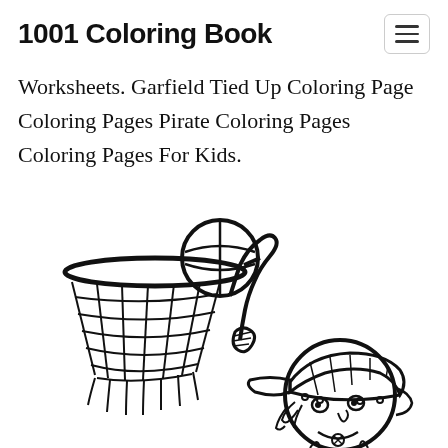1001 Coloring Book
Worksheets. Garfield Tied Up Coloring Page Coloring Pages Pirate Coloring Pages Coloring Pages For Kids.
[Figure (illustration): Black and white coloring page illustration of a cartoon character dunking a basketball through a hoop with a net, wearing a backwards cap, shown from the waist up]